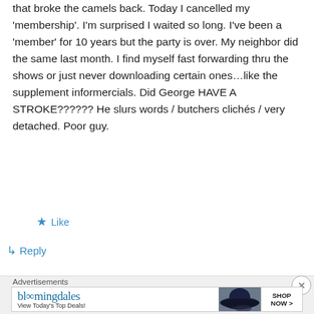that broke the camels back. Today I cancelled my 'membership'. I'm surprised I waited so long. I've been a 'member' for 10 years but the party is over. My neighbor did the same last month. I find myself fast forwarding thru the shows or just never downloading certain ones…like the supplement informercials. Did George HAVE A STROKE?????? He slurs words / butchers clichés / very detached. Poor guy.
★ Like
↳ Reply
Advertisements
[Figure (other): Bloomingdales advertisement banner with logo, woman in hat image, and SHOP NOW button]